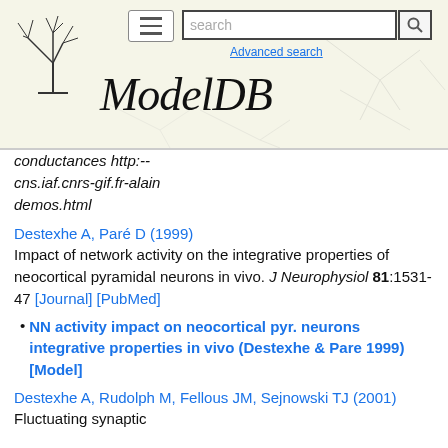[Figure (screenshot): ModelDB website header with logo, hamburger menu, search bar, search button, Advanced search link, and ModelDB italic title on neuron-patterned background]
conductances http:--cns.iaf.cnrs-gif.fr-alain demos.html
Destexhe A, Paré D (1999)
Impact of network activity on the integrative properties of neocortical pyramidal neurons in vivo. J Neurophysiol 81:1531-47 [Journal] [PubMed]
NN activity impact on neocortical pyr. neurons integrative properties in vivo (Destexhe & Pare 1999) [Model]
Destexhe A, Rudolph M, Fellous JM, Sejnowski TJ (2001)
Fluctuating synaptic